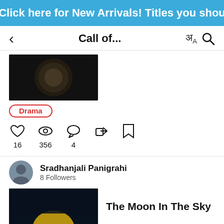Click here for New Arrivals! Titles you shou
Call of...
[Figure (photo): Partially visible book cover with dark tones]
Drama
16  356  4
Sradhanjali Panigrahi
8 Followers
[Figure (photo): Dark book cover with moon visible at bottom]
The Moon In The Sky
20  3